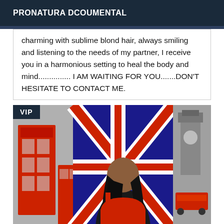PRONATURA DCOUMENTAL
charming with sublime blond hair, always smiling and listening to the needs of my partner, I receive you in a harmonious setting to heal the body and mind............... I AM WAITING FOR YOU.......DON’T HESITATE TO CONTACT ME.
[Figure (photo): Woman with long dark hair viewed from behind, standing in front of a UK/London-themed backdrop featuring Union Jack flags, red telephone boxes, and Big Ben imagery. She is wearing red. A VIP badge appears in the top-left corner of the image.]